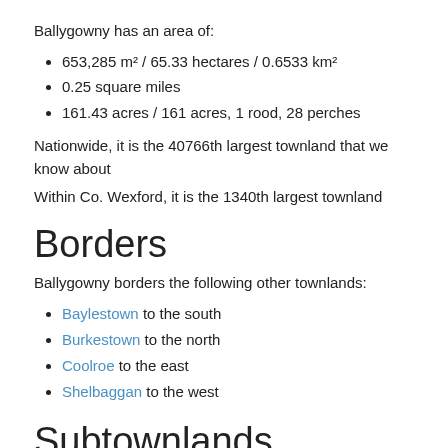Ballygowny has an area of:
653,285 m² / 65.33 hectares / 0.6533 km²
0.25 square miles
161.43 acres / 161 acres, 1 rood, 28 perches
Nationwide, it is the 40766th largest townland that we know about
Within Co. Wexford, it is the 1340th largest townland
Borders
Ballygowny borders the following other townlands:
Baylestown to the south
Burkestown to the north
Coolroe to the east
Shelbaggan to the west
Subtownlands
We don't know about any subtownlands in Ballygowny.
Genealogy / Ancestry /